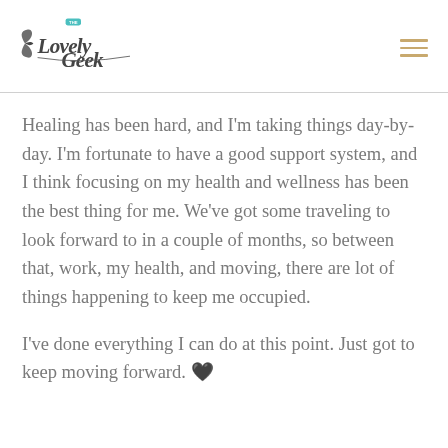[Figure (logo): The Lovely Geek blog logo with teal and dark decorative script text]
Healing has been hard, and I'm taking things day-by-day. I'm fortunate to have a good support system, and I think focusing on my health and wellness has been the best thing for me. We've got some traveling to look forward to in a couple of months, so between that, work, my health, and moving, there are lot of things happening to keep me occupied.
I've done everything I can do at this point. Just got to keep moving forward. 🖤